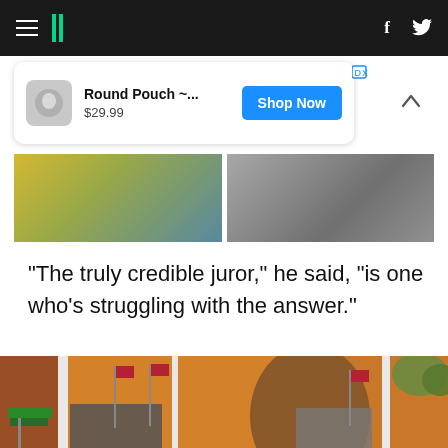HuffPost navigation bar with hamburger menu, logo, Facebook and Twitter icons
[Figure (screenshot): Advertisement card showing 'Round Pouch ~...' priced at $29.99 with a Shop Now button, plus a strip of advertisement images below]
"The truly credible juror," he said, "is one who's struggling with the answer."
[Figure (photo): A large outdoor mural on a brick building depicting a Black man's face prominently in the center, surrounded by a crowd of people with American flags on either side, set against an orange/amber background sky. A street sign reading 'N MOUNT ST' is visible at lower left.]